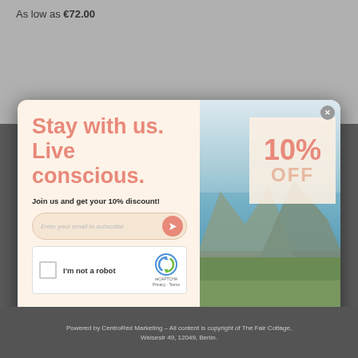As low as €72.00
[Figure (screenshot): Newsletter subscription popup modal with two panels. Left panel has peach/cream background with 'Stay with us. Live conscious.' heading in salmon color, 'Join us and get your 10% discount!' text, email input field, and reCAPTCHA widget. Right panel shows a landscape photo of mountains and lake with a '10% OFF' discount badge overlay. A close button (x) is in the top right corner.]
Powered by CentroRed Marketing – All content is copyright of The Fair Cottage, Weisestr 49, 12049, Berlin.